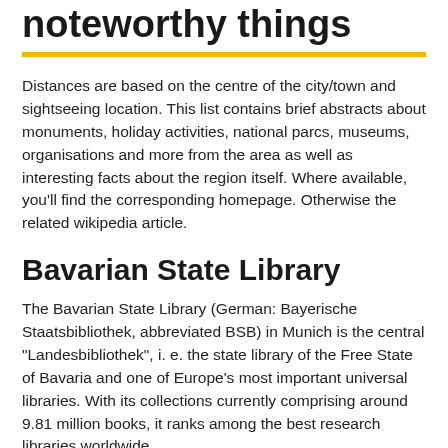noteworthy things
Distances are based on the centre of the city/town and sightseeing location. This list contains brief abstracts about monuments, holiday activities, national parcs, museums, organisations and more from the area as well as interesting facts about the region itself. Where available, you'll find the corresponding homepage. Otherwise the related wikipedia article.
Bavarian State Library
The Bavarian State Library (German: Bayerische Staatsbibliothek, abbreviated BSB) in Munich is the central "Landesbibliothek", i. e. the state library of the Free State of Bavaria and one of Europe's most important universal libraries. With its collections currently comprising around 9.81 million books, it ranks among the best research libraries worldwide.